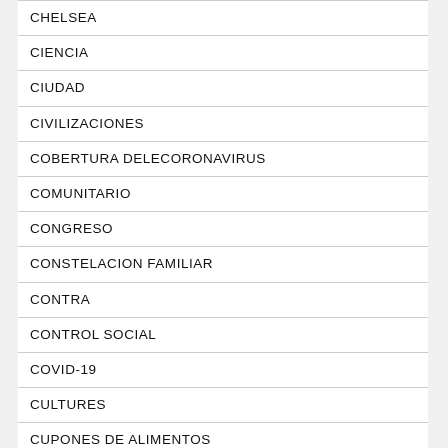CHELSEA
CIENCIA
CIUDAD
CIVILIZACIONES
COBERTURA DELECORONAVIRUS
COMUNITARIO
CONGRESO
CONSTELACION FAMILIAR
CONTRA
CONTROL SOCIAL
COVID-19
CULTURES
CUPONES DE ALIMENTOS
DACA